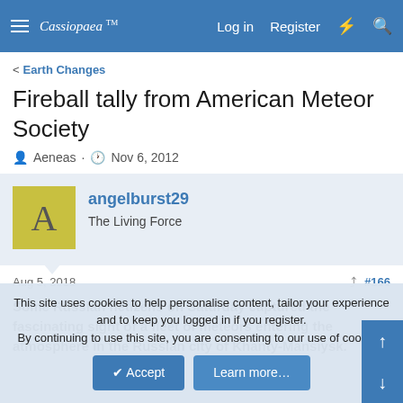Cassiopaea | Log in | Register
< Earth Changes
Fireball tally from American Meteor Society
Aeneas · Nov 6, 2012
angelburst29 — The Living Force
Aug 5, 2018  #166
Some Russian netizens on Saturday captured the fascinating sight of a fleet of meteors entering the atmosphere in the Russian city of Khanty-Mansiysk.
This site uses cookies to help personalise content, tailor your experience and to keep you logged in if you register. By continuing to use this site, you are consenting to our use of cookies.